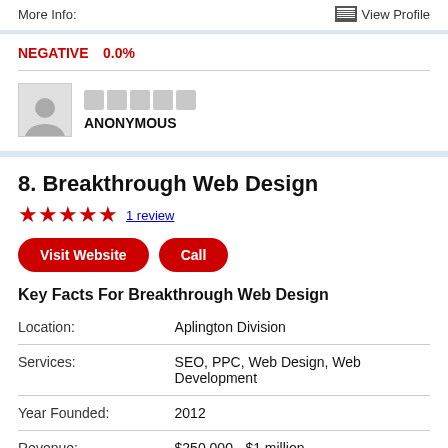More Info:
View Profile
NEGATIVE  0.0%
ANONYMOUS
8. Breakthrough Web Design
1 review
Visit Website  Call
Key Facts For Breakthrough Web Design
|  |  |
| --- | --- |
| Location: | Aplington Division |
| Services: | SEO, PPC, Web Design, Web Development |
| Year Founded: | 2012 |
| Revenue: | $250,000 - $1 million |